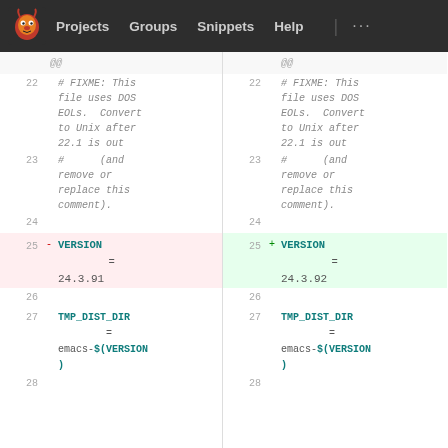Projects  Groups  Snippets  Help  ...
[Figure (screenshot): GitLab diff view showing two panels side by side. Left panel shows lines 22-28 of a Makefile with VERSION = 24.3.91 (deleted, red background). Right panel shows the same lines with VERSION = 24.3.92 (added, green background). Lines 22-23 show a FIXME comment about DOS EOLs. Line 27 shows TMP_DIST_DIR = emacs-$(VERSION).]